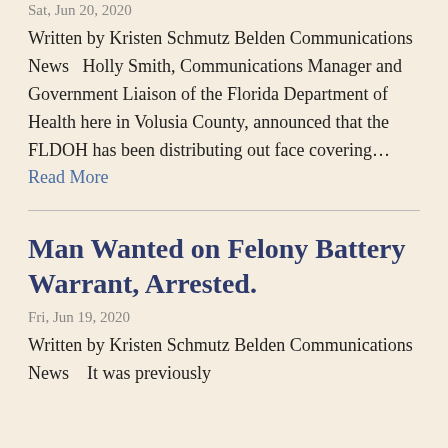Written by Kristen Schmutz Belden Communications News   Holly Smith, Communications Manager and Government Liaison of the Florida Department of Health here in Volusia County, announced that the FLDOH has been distributing out face covering... Read More
Sat, Jun 20, 2020
Man Wanted on Felony Battery Warrant, Arrested.
Fri, Jun 19, 2020
Written by Kristen Schmutz Belden Communications News    It was previously